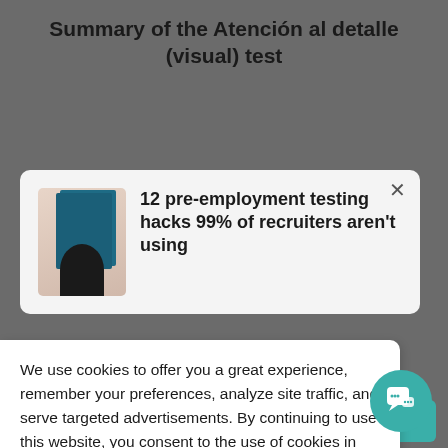Summary of the Atención al detalle (visual) test
[Figure (screenshot): Screenshot of a webpage with a dark grey background showing a modal popup containing a book cover image and headline '12 pre-employment testing hacks 99% of recruiters aren't using', overlaid by a cookie consent banner and a teal chat button in the bottom right.]
12 pre-employment testing hacks 99% of recruiters aren't using
We use cookies to offer you a great experience, remember your preferences, analyze site traffic, and serve targeted advertisements. By continuing to use this website, you consent to the use of cookies in accordance with our Cookie Policy.
Accept